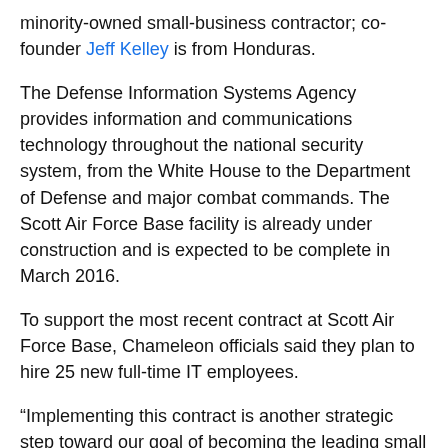minority-owned small-business contractor; co-founder Jeff Kelley is from Honduras.
The Defense Information Systems Agency provides information and communications technology throughout the national security system, from the White House to the Department of Defense and major combat commands. The Scott Air Force Base facility is already under construction and is expected to be complete in March 2016.
To support the most recent contract at Scott Air Force Base, Chameleon officials said they plan to hire 25 new full-time IT employees.
“Implementing this contract is another strategic step toward our goal of becoming the leading small business provider of IT support services to DISA and the U.S. Department of Defense,” said Drew Acree, president and co-owner of Chameleon, in a statement.
The service by Chameleon was noted to be in addition to...